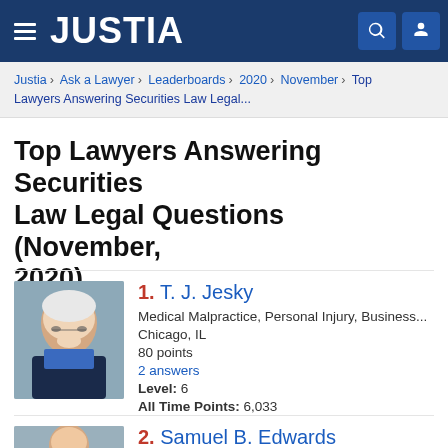JUSTIA
Justia › Ask a Lawyer › Leaderboards › 2020 › November › Top Lawyers Answering Securities Law Legal...
Top Lawyers Answering Securities Law Legal Questions (November, 2020)
1. T. J. Jesky | Medical Malpractice, Personal Injury, Business... | Chicago, IL | 80 points | 2 answers | Level: 6 | All Time Points: 6,033
2. Samuel B. Edwards